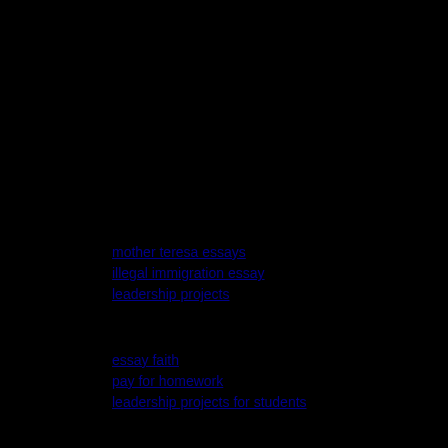mother teresa essays
illegal immigration essay
leadership projects
essay faith
pay for homework
leadership projects for students